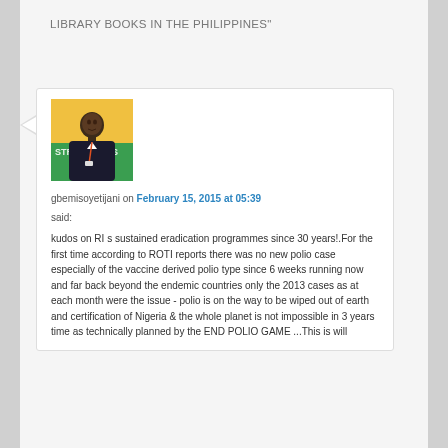LIBRARY BOOKS IN THE PHILIPPINES"
[Figure (photo): Profile photo of gbemisoyetijani, a man in a dark suit with a lanyard, in front of a yellow and green banner with partial text STR...ANS]
gbemisoyetijani on February 15, 2015 at 05:39
said:
kudos on RI s sustained eradication programmes since 30 years!.For the first time according to ROTI reports there was no new polio case especially of the vaccine derived polio type since 6 weeks running now and far back beyond the endemic countries only the 2013 cases as at each month were the issue - polio is on the way to be wiped out of earth and certification of Nigeria & the whole planet is not impossible in 3 years time as technically planned by the END POLIO GAME ...This is will